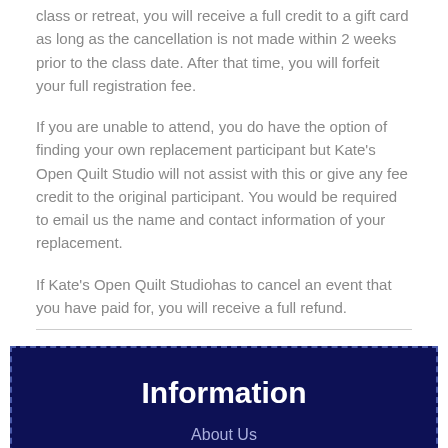class or retreat, you will receive a full credit to a gift card as long as the cancellation is not made within 2 weeks prior to the class date. After that time, you will forfeit your full registration fee.
If you are unable to attend, you do have the option of finding your own replacement participant but Kate's Open Quilt Studio will not assist with this or give any fee credit to the original participant. You would be required to email us the name and contact information of your replacement.
If Kate's Open Quilt Studiohas to cancel an event that you have paid for, you will receive a full refund.
Information
About Us